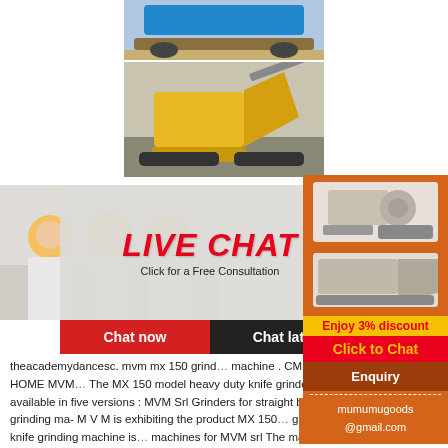[Figure (photo): Partial top view of a blue tracked crusher/mining machine on a sandy ground, cropped at the top of the page.]
[Figure (photo): Yellow and red heavy-duty crusher machine with a conveyor belt, surrounded by crushed stone/gravel.]
[Figure (photo): Three workers wearing yellow hard hats and white shirts, smiling, used as background for live chat overlay.]
[Figure (screenshot): Live Chat popup overlay with red italic text 'LIVE CHAT', subtitle 'Click for a Free Consultation', close button (X), and two buttons: 'Chat now' (red) and 'Chat later' (dark).]
[Figure (photo): Orange sidebar panel with two crusher machine images, 'Enjoy 3% discount' yellow banner, red 'Click to Chat' button, 'Enquiry' section, and email mumumugoods@gmail.com.]
theacademydancesc. mvm mx 150 grinder machine . CME Machinery HOME MVM The MX 150 model heavy duty knife grinder is available in five versions : MVM Srl Grinders for straight blades grinding ma- M V M is exhibiting the product MX 150 grinding This knife grinding machine is machines for MVM srl The main feature of this